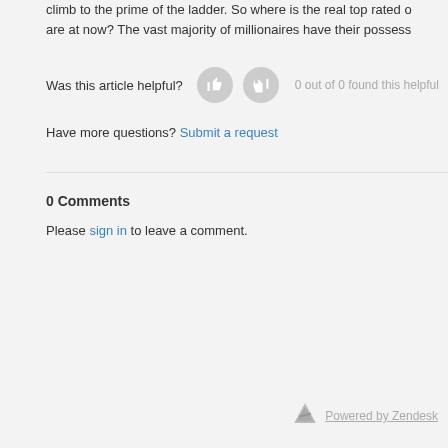climb to the prime of the ladder. So where is the real top rated … are at now? The vast majority of millionaires have their possess…
Was this article helpful?  0 out of 0 found this helpful
Have more questions? Submit a request
0 Comments
Please sign in to leave a comment.
Powered by Zendesk